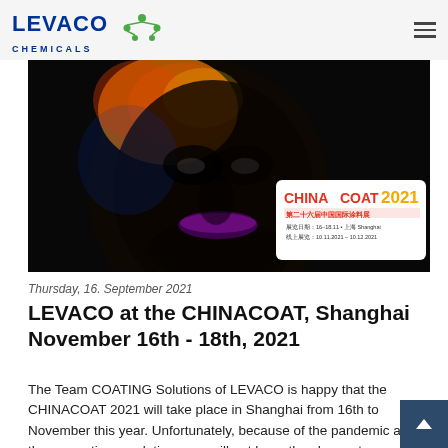LEVACO CHEMICALS
[Figure (photo): Dark artistic photo of a face with colorful UV/neon lights (orange, red, purple) overlaid, with a CHINACOAT 2021 logo badge in the lower right corner. The badge shows event dates 16-18.11, Shanghai, registration 10.11.2021 - 10.12.2021]
Thursday, 16. September 2021
LEVACO at the CHINACOAT, Shanghai November 16th - 18th, 2021
The Team COATING Solutions of LEVACO is happy that the CHINACOAT 2021 will take place in Shanghai from 16th to November this year. Unfortunately, because of the pandemic and the respective regulations, we will not have the chance to